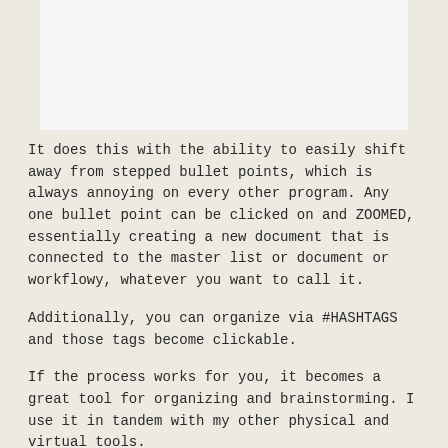[Figure (screenshot): Top portion of a document or app interface card, light gray/white background, partially visible]
It does this with the ability to easily shift away from stepped bullet points, which is always annoying on every other program. Any one bullet point can be clicked on and ZOOMED, essentially creating a new document that is connected to the master list or document or workflowy, whatever you want to call it.
Additionally, you can organize via #HASHTAGS and those tags become clickable.
If the process works for you, it becomes a great tool for organizing and brainstorming. I use it in tandem with my other physical and virtual tools.
This is how I am using it...
I am using it as a dailyprocessig tool. I k...